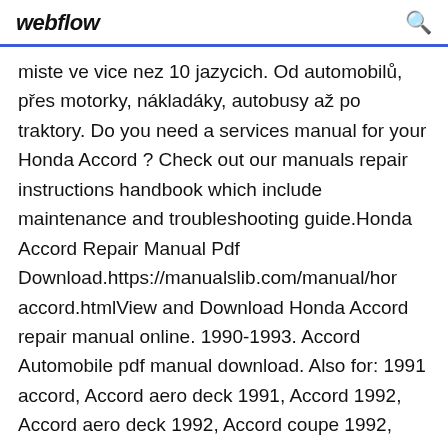webflow
miste ve vice nez 10 jazycich. Od automobilů, přes motorky, nákladáky, autobusy až po traktory. Do you need a services manual for your Honda Accord ? Check out our manuals repair instructions handbook which include maintenance and troubleshooting guide.Honda Accord Repair Manual Pdf Download.https://manualslib.com/manual/hor accord.htmlView and Download Honda Accord repair manual online. 1990-1993. Accord Automobile pdf manual download. Also for: 1991 accord, Accord aero deck 1991, Accord 1992, Accord aero deck 1992, Accord coupe 1992,